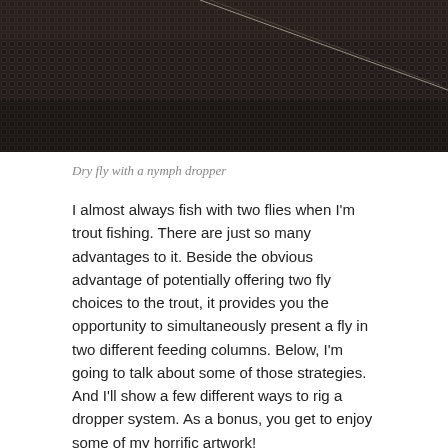[Figure (photo): Close-up of a woven mesh or net texture in dark brown/black tones, with a thin fishing line visible diagonally across the surface. This appears to be a dry fly with a nymph dropper setup photographed on a net background.]
Dry fly with a nymph dropper
I almost always fish with two flies when I'm trout fishing. There are just so many advantages to it. Beside the obvious advantage of potentially offering two fly choices to the trout, it provides you the opportunity to simultaneously present a fly in two different feeding columns. Below, I'm going to talk about some of those strategies.  And I'll show a few different ways to rig a dropper system. As a bonus, you get to enjoy some of my horrific artwork!
Dry Fly / Dropper
This is the two-fly method with which many fly fishermen are most familiar. It seems that even less experienced